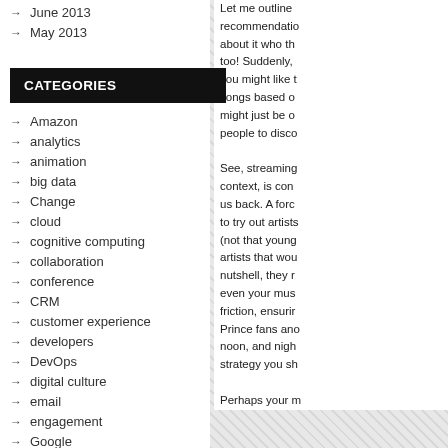→ June 2013
→ May 2013
CATEGORIES
→ Amazon
→ analytics
→ animation
→ big data
→ Change
→ cloud
→ cognitive computing
→ collaboration
→ conference
→ CRM
→ customer experience
→ developers
→ DevOps
→ digital culture
→ email
→ engagement
→ Google
Let me outline recommendations about it who the too! Suddenly, you might like songs based on might just be o people to disco See, streaming context, is cono us back. A forc to try out artists (not that young artists that wou nutshell, they r even your mus friction, ensuri Prince fans ano noon, and nigh strategy you sh Perhaps your m